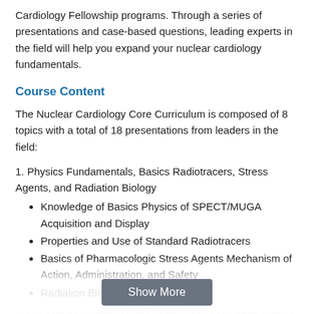Cardiology Fellowship programs. Through a series of presentations and case-based questions, leading experts in the field will help you expand your nuclear cardiology fundamentals.
Course Content
The Nuclear Cardiology Core Curriculum is composed of 8 topics with a total of 18 presentations from leaders in the field:
1. Physics Fundamentals, Basics Radiotracers, Stress Agents, and Radiation Biology
Knowledge of Basics Physics of SPECT/MUGA Acquisition and Display
Properties and Use of Standard Radiotracers
Basics of Pharmacologic Stress Agents Mechanism of Action, Administration, and Safety
Radiation Biology Basics
2. Pre-test Assessment and Fundamentals of Stress Testing